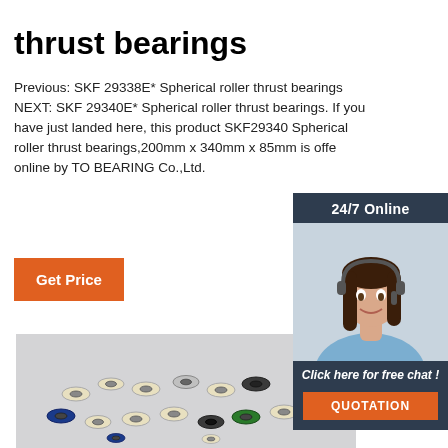thrust bearings
Previous: SKF 29338E* Spherical roller thrust bearings NEXT: SKF 29340E* Spherical roller thrust bearings. If you have just landed here, this product SKF29340 Spherical roller thrust bearings,200mm x 340mm x 85mm is offe online by TO BEARING Co.,Ltd.
[Figure (other): 24/7 Online chat widget with customer service agent photo, 'Click here for free chat!' text, and orange QUOTATION button]
[Figure (photo): Multiple small colorful bearing wheels/rollers scattered on a light grey surface, showing various colors including white, blue, black, and green]
Get Price